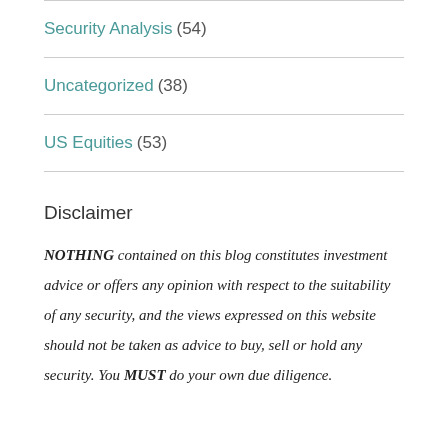Security Analysis (54)
Uncategorized (38)
US Equities (53)
Disclaimer
NOTHING contained on this blog constitutes investment advice or offers any opinion with respect to the suitability of any security, and the views expressed on this website should not be taken as advice to buy, sell or hold any security. You MUST do your own due diligence.